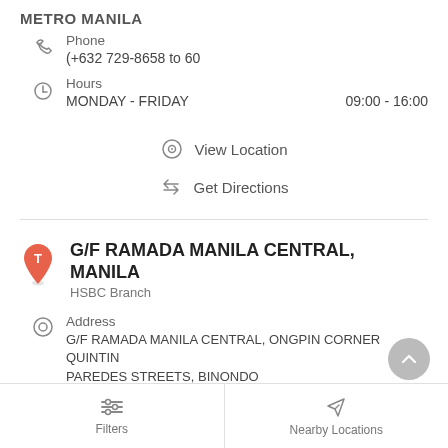METRO MANILA
Phone
(+632 729-8658 to 60
Hours
MONDAY - FRIDAY    09:00 - 16:00
View Location
Get Directions
G/F RAMADA MANILA CENTRAL, MANILA
HSBC Branch
Address
G/F RAMADA MANILA CENTRAL, ONGPIN CORNER QUINTIN PAREDES STREETS, BINONDO
Filters
Nearby Locations